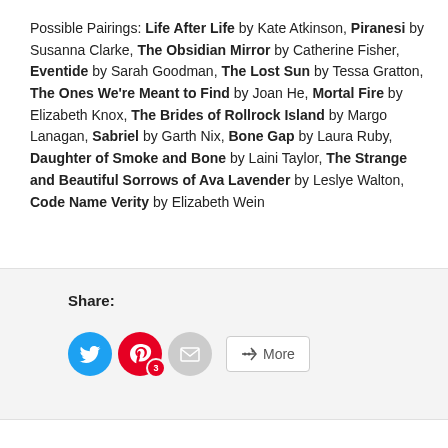Possible Pairings: Life After Life by Kate Atkinson, Piranesi by Susanna Clarke, The Obsidian Mirror by Catherine Fisher, Eventide by Sarah Goodman, The Lost Sun by Tessa Gratton, The Ones We're Meant to Find by Joan He, Mortal Fire by Elizabeth Knox, The Brides of Rollrock Island by Margo Lanagan, Sabriel by Garth Nix, Bone Gap by Laura Ruby, Daughter of Smoke and Bone by Laini Taylor, The Strange and Beautiful Sorrows of Ava Lavender by Leslye Walton, Code Name Verity by Elizabeth Wein
Share:
[Figure (infographic): Social share buttons: Twitter (blue circle), Pinterest (red circle with badge '3'), Email (gray circle), and a 'More' button with share icon]